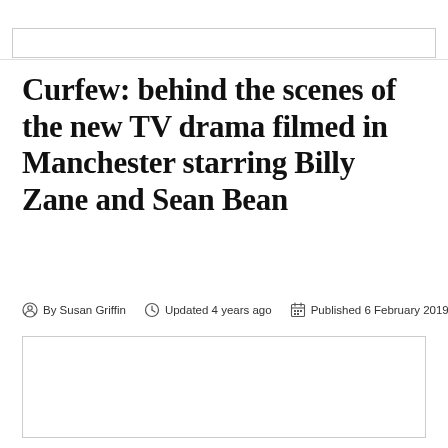Curfew: behind the scenes of the new TV drama filmed in Manchester starring Billy Zane and Sean Bean
By Susan Griffin   Updated 4 years ago   Published 6 February 2019
[Figure (photo): Image placeholder / white rectangle with border]